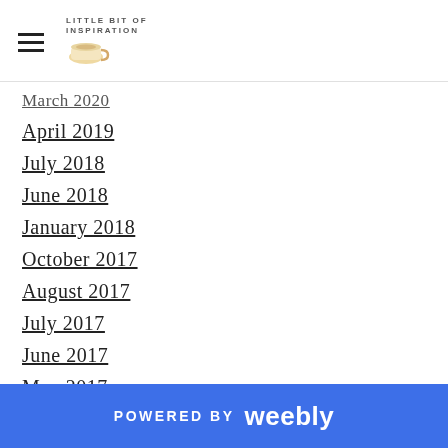Little Bit of Inspiration (logo with coffee cup)
March 2020
April 2019
July 2018
June 2018
January 2018
October 2017
August 2017
July 2017
June 2017
May 2017
April 2017
February 2017
January 2017
POWERED BY weebly